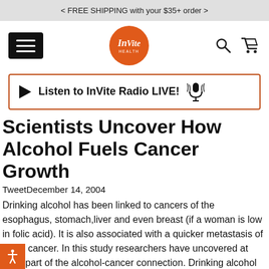< FREE SHIPPING with your $35+ order >
[Figure (logo): InVite Health logo - orange circle with InVite Health text]
[Figure (infographic): Listen to InVite Radio LIVE! button with play triangle and microphone icon]
Scientists Uncover How Alcohol Fuels Cancer Growth
TweetDecember 14, 2004
Drinking alcohol has been linked to cancers of the esophagus, stomach,liver and even breast (if a woman is low in folic acid). It is also associated with a quicker metastasis of colon cancer. In this study researchers have uncovered at least part of the alcohol-cancer connection. Drinking alcohol increases levels of acular endothelial growth factor or VEGF - a growth factor